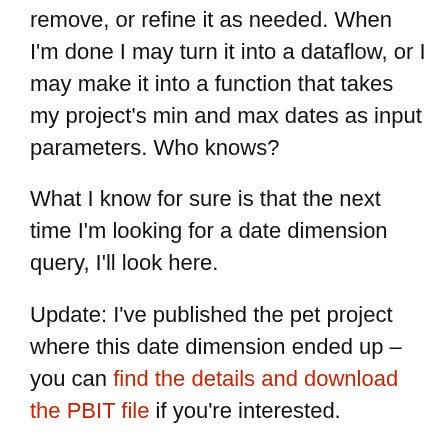remove, or refine it as needed. When I'm done I may turn it into a dataflow, or I may make it into a function that takes my project's min and max dates as input parameters. Who knows?
What I know for sure is that the next time I'm looking for a date dimension query, I'll look here.
Update: I've published the pet project where this date dimension ended up – you can find the details and download the PBIT file if you're interested.
This PBIT also includes a tweak to the query shared above to dynamically set the start and end